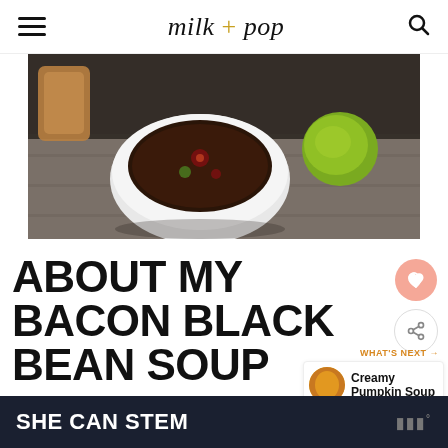milk + pop
[Figure (photo): A white ceramic bowl of dark black bean soup with toppings, a lime, and bread on a wooden table surface, photographed from above/side angle]
ABOUT MY BACON BLACK BEAN SOUP
WHAT'S NEXT → Creamy Pumpkin Soup
SHE CAN STEM